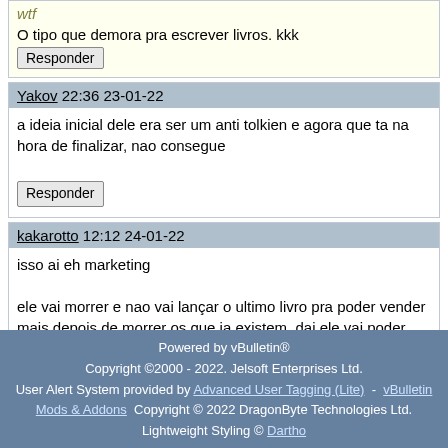wtf
O tipo que demora pra escrever livros. kkk
Responder
Yakov 22:36 23-01-22
a ideia inicial dele era ser um anti tolkien e agora que ta na hora de finalizar, nao consegue
Responder
kakarotto 12:12 24-01-22
isso ai eh marketing

ele vai morrer e nao vai lançar o ultimo livro pra poder vender mais depois de morrer os que ja existem, dai ele vai poder usufruir toda a grana no céu
Responder
1
2
3
4
Responder  Up
Powered by vBulletin®
Copyright ©2000 - 2022. Jelsoft Enterprises Ltd.
User Alert System provided by Advanced User Tagging (Lite) - vBulletin Mods & Addons Copyright © 2022 DragonByte Technologies Ltd.
Lightweight Styling © Dartho